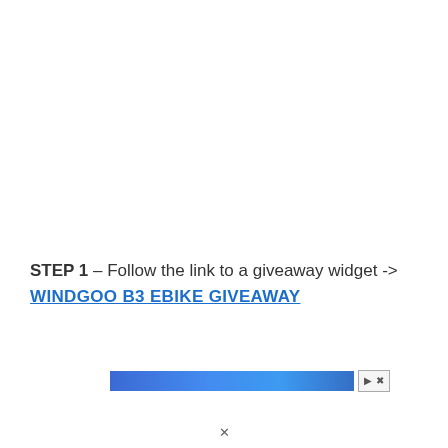STEP 1 – Follow the link to a giveaway widget -> WINDGOO B3 EBIKE GIVEAWAY
[Figure (screenshot): Partial screenshot of a blue banner advertisement with close/minimize controls on the right side]